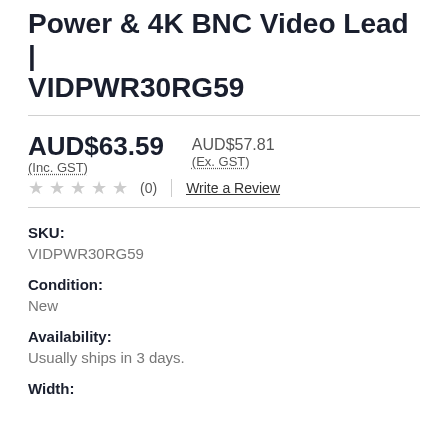Power & 4K BNC Video Lead | VIDPWR30RG59
AUD$63.59 (Inc. GST)   AUD$57.81 (Ex. GST)
★★★★★ (0) | Write a Review
SKU:
VIDPWR30RG59
Condition:
New
Availability:
Usually ships in 3 days.
Width: